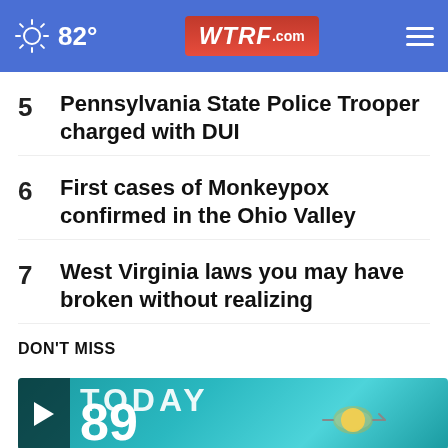82° WTRF.com
5  Pennsylvania State Police Trooper charged with DUI
6  First cases of Monkeypox confirmed in the Ohio Valley
7  West Virginia laws you may have broken without realizing
DON'T MISS
[Figure (screenshot): Video thumbnail showing weather forecast with TODAY text and 89 temperature, with anchor person visible on right side]